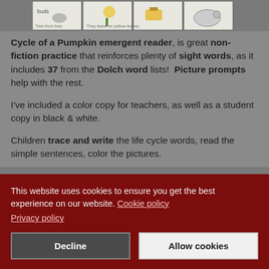[Figure (illustration): A strip of four illustrated panels showing stages of a pumpkin life cycle, including seeds, flowers, pumpkin, and a hedgehog/animal silhouette]
Cycle of a Pumpkin emergent reader, is great non-fiction practice that reinforces plenty of sight words, as it includes 37 from the Dolch word lists! Picture prompts help with the rest.
I've included a color copy for teachers, as well as a student copy in black & white.
Children trace and write the life cycle words, read the simple sentences, color the pictures.
This website uses cookies to ensure you get the best experience on our website. Cookie policy
Privacy policy
Decline
Allow cookies